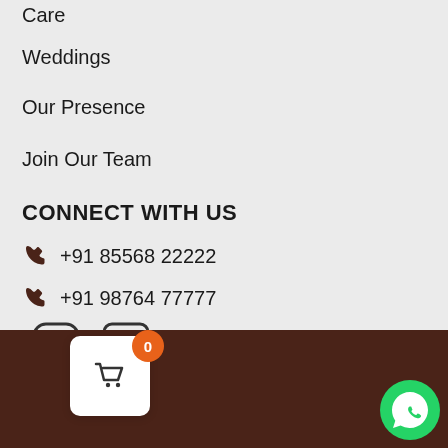Care
Weddings
Our Presence
Join Our Team
CONNECT WITH US
+91 85568 22222
+91 98764 77777
[Figure (illustration): Instagram and Facebook social media icons]
Terms & Condition | Privacy Policy
All rights reserved. © Copyright lovelybakery 2020 | Designed & Develoved by : SUN Infocom